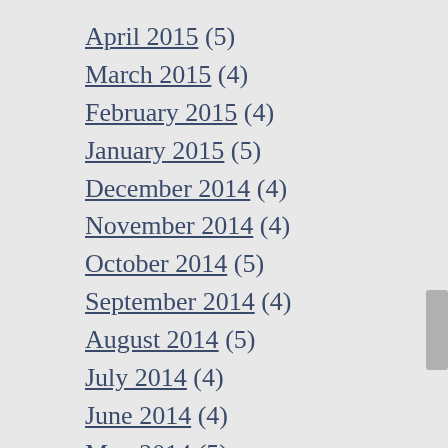April 2015 (5)
March 2015 (4)
February 2015 (4)
January 2015 (5)
December 2014 (4)
November 2014 (4)
October 2014 (5)
September 2014 (4)
August 2014 (5)
July 2014 (4)
June 2014 (4)
May 2014 (5)
April 2014 (4)